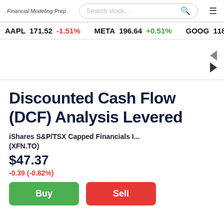Financial Modeling Prep
Search stock...
AAPL 171.52 -1.51%   META 196.64 +0.51%   GOOG 118.12 -2.26%   M
Discounted Cash Flow (DCF) Analysis Levered
iShares S&P/TSX Capped Financials I... (XFN.TO)
$47.37
-0.39 (-0.82%)
Buy
Sell